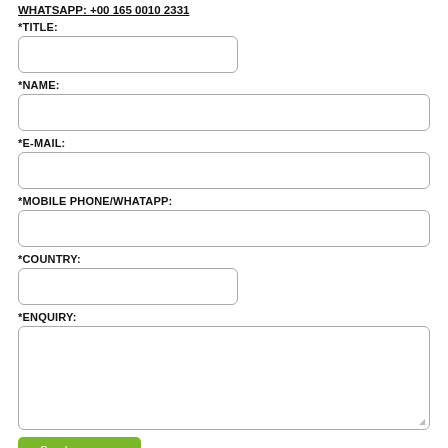WHATSAPP: +00 165 0010 2331
*TITLE:
*NAME:
*E-MAIL:
*MOBILE PHONE/WHATAPP:
*COUNTRY:
*ENQUIRY:
Send message